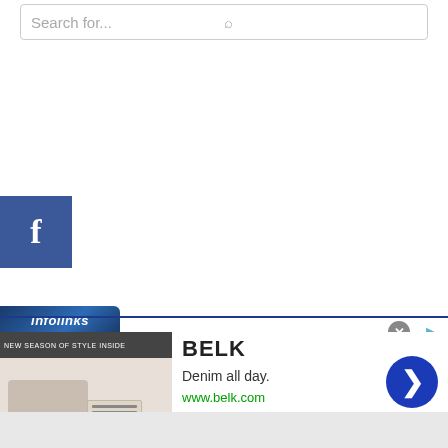[Figure (screenshot): Search bar with placeholder text 'Search for...' and a search icon on the right]
[Figure (logo): Facebook 'f' logo button, white letter f on blue square background]
[Figure (screenshot): Infolinks ad network banner with 'infolinks' text in italic white on dark blue background]
[Figure (screenshot): Advertisement for BELK showing fashion images on left, brand name BELK, tagline 'Denim all day.' and URL www.belk.com, with a blue circular next arrow button]
[Figure (screenshot): Gray footer bar at the bottom of the page]